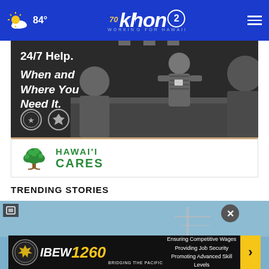khon2 WORKING FOR HAWAII — 84°
[Figure (advertisement): Hawaii Cares advertisement with black and white photo of people at a service counter, text reads '24/7 Help. When and Where You Need It.' with Hawaii Cares logo showing a tree]
TRENDING STORIES
[Figure (screenshot): Trending story thumbnail with blue background]
[Figure (advertisement): IBEW 1260 Bridging the Pacific banner ad — Ensuring Competitive Wages, Providing Job Security, Promoting Advanced Skill Levels]